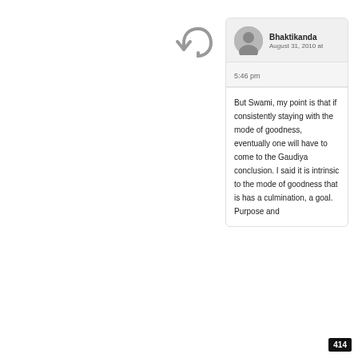[Figure (illustration): Reply arrow icon (curved arrow pointing left/back), gray color]
Bhaktikanda
August 31, 2010 at 5:46 pm
But Swami, my point is that if consistently staying with the mode of goodness, eventually one will have to come to the Gaudiya conclusion. I said it is intrinsic to the mode of goodness that is has a culmination, a goal. Purpose and
414